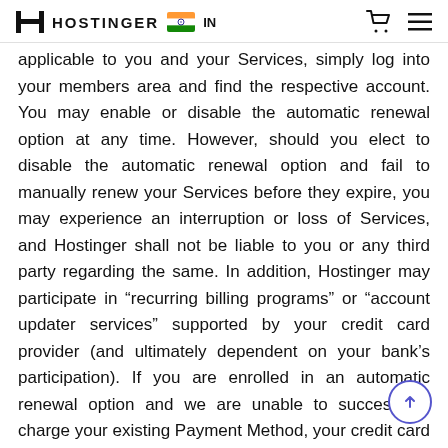HOSTINGER IN
applicable to you and your Services, simply log into your members area and find the respective account. You may enable or disable the automatic renewal option at any time. However, should you elect to disable the automatic renewal option and fail to manually renew your Services before they expire, you may experience an interruption or loss of Services, and Hostinger shall not be liable to you or any third party regarding the same. In addition, Hostinger may participate in “recurring billing programs” or “account updater services” supported by your credit card provider (and ultimately dependent on your bank’s participation). If you are enrolled in an automatic renewal option and we are unable to successfully charge your existing Payment Method, your credit card provider (or your bank) may notify us of updates to your credit card